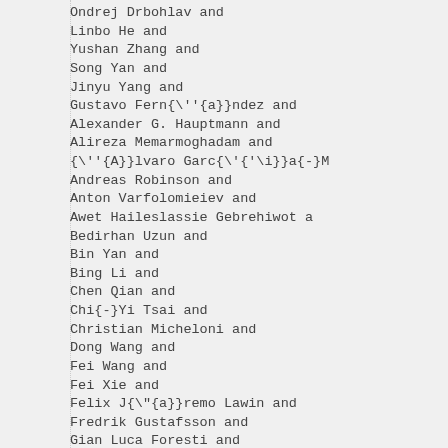Ondrej Drbohlav and
Linbo He and
Yushan Zhang and
Song Yan and
Jinyu Yang and
Gustavo Fern{\'a}}ndez and
Alexander G. Hauptmann and
Alireza Memarmoghadam and
{\'A}}lvaro Garc{\'\i}}a{-}M
Andreas Robinson and
Anton Varfolomieiev and
Awet Haileslassie Gebrehiwot a
Bedirhan Uzun and
Bin Yan and
Bing Li and
Chen Qian and
Chi{-}Yi Tsai and
Christian Micheloni and
Dong Wang and
Fei Wang and
Fei Xie and
Felix J{\"{a}}remo Lawin and
Fredrik Gustafsson and
Gian Luca Foresti and
Goutam Bhat and
Guangqi Chen and
Haibin Ling and
Haitao Zhang and